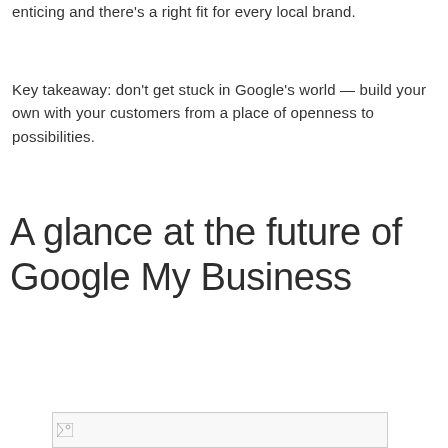enticing and there's a right fit for every local brand.
Key takeaway: don't get stuck in Google's world — build your own with your customers from a place of openness to possibilities.
A glance at the future of Google My Business
[Figure (photo): Broken/unloaded image placeholder at the bottom of the page]